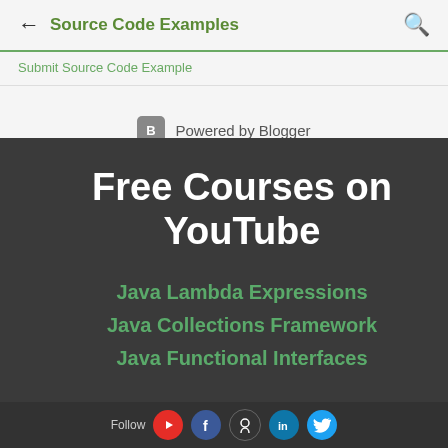Source Code Examples
Submit Source Code Example
[Figure (logo): Powered by Blogger logo with blogger icon]
Free Courses on YouTube
Java Lambda Expressions
Java Collections Framework
Java Functional Interfaces
Follow [YouTube] [Facebook] [GitHub] [LinkedIn] [Twitter]